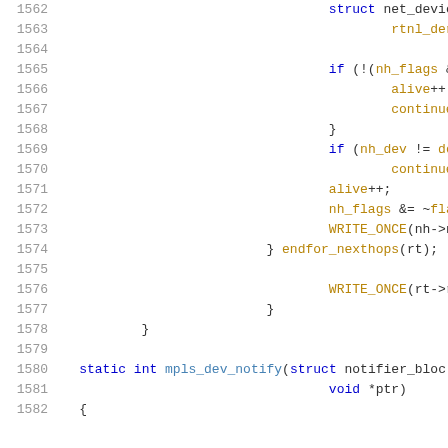Source code listing lines 1562-1582, C kernel code snippet showing mpls_dev_notify function and nexthop iteration logic.